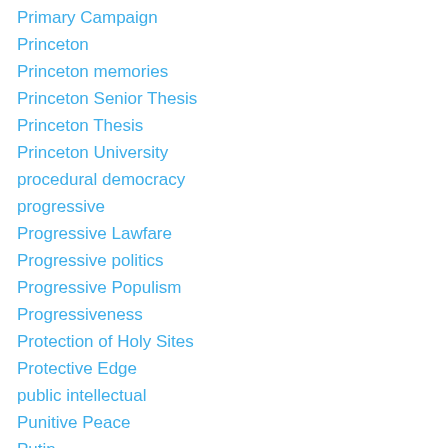Primary Campaign
Princeton
Princeton memories
Princeton Senior Thesis
Princeton Thesis
Princeton University
procedural democracy
progressive
Progressive Lawfare
Progressive politics
Progressive Populism
Progressiveness
Protection of Holy Sites
Protective Edge
public intellectual
Punitive Peace
Putin
Qaddafi
Qassim Soleimani
Qatar